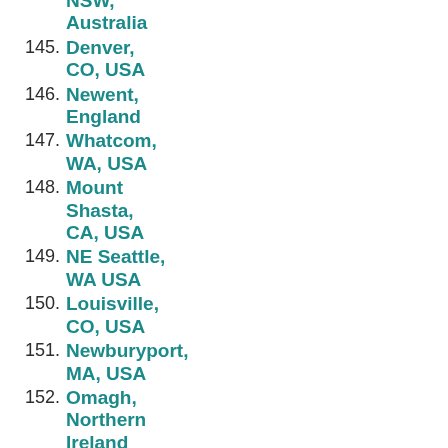NSW, Australia
145. Denver, CO, USA
146. Newent, England
147. Whatcom, WA, USA
148. Mount Shasta, CA, USA
149. NE Seattle, WA USA
150. Louisville, CO, USA
151. Newburyport, MA, USA
152. Omagh, Northern Ireland
153. Oxford, England
154. Thornbury, England
155. Bro Gwaun, Wales
156. Farnham, England